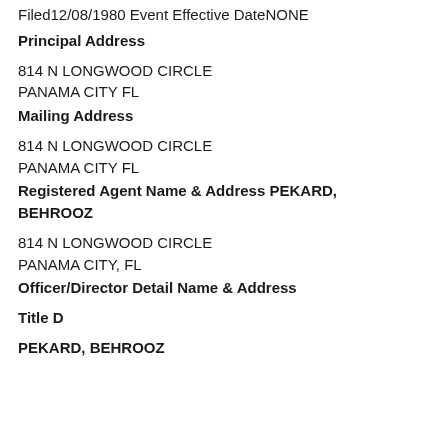Filed12/08/1980 Event Effective DateNONE
Principal Address
814 N LONGWOOD CIRCLE
PANAMA CITY FL
Mailing Address
814 N LONGWOOD CIRCLE
PANAMA CITY FL
Registered Agent Name & Address PEKARD, BEHROOZ
814 N LONGWOOD CIRCLE
PANAMA CITY, FL
Officer/Director Detail Name & Address
Title D
PEKARD, BEHROOZ